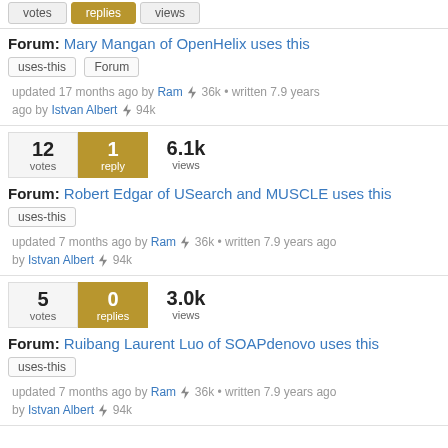votes | replies | views
Forum: Mary Mangan of OpenHelix uses this
uses-this  Forum
updated 17 months ago by Ram ⚡ 36k • written 7.9 years ago by Istvan Albert ⚡ 94k
12 votes | 1 reply | 6.1k views
Forum: Robert Edgar of USearch and MUSCLE uses this
uses-this
updated 7 months ago by Ram ⚡ 36k • written 7.9 years ago by Istvan Albert ⚡ 94k
5 votes | 0 replies | 3.0k views
Forum: Ruibang Laurent Luo of SOAPdenovo uses this
uses-this
updated 7 months ago by Ram ⚡ 36k • written 7.9 years ago by Istvan Albert ⚡ 94k